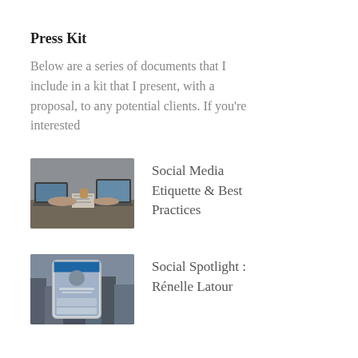Press Kit
Below are a series of documents that I include in a kit that I present, with a proposal, to any potential clients. If you're interested
[Figure (photo): Thumbnail image of people working at a desk with laptops and documents]
Social Media Etiquette & Best Practices
[Figure (photo): Thumbnail image of a social media profile on a smartphone screen]
Social Spotlight : Rénelle Latour